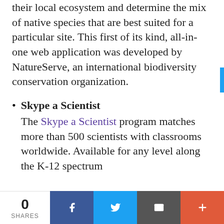their local ecosystem and determine the mix of native species that are best suited for a particular site. This first of its kind, all-in-one web application was developed by NatureServe, an international biodiversity conservation organization.
Skype a Scientist
The Skype a Scientist program matches more than 500 scientists with classrooms worldwide. Available for any level along the K-12 spectrum
0 SHARES | Facebook | Twitter | Email | More